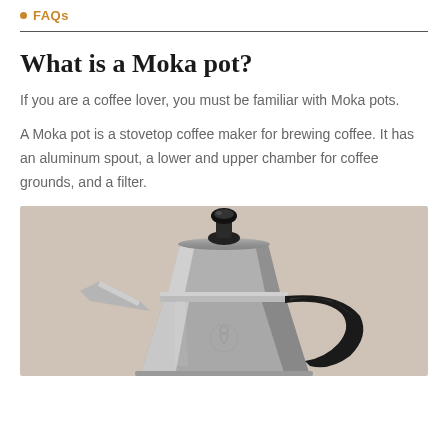FAQs
What is a Moka pot?
If you are a coffee lover, you must be familiar with Moka pots.
A Moka pot is a stovetop coffee maker for brewing coffee. It has an aluminum spout, a lower and upper chamber for coffee grounds, and a filter.
[Figure (photo): Close-up photograph of a Bialetti Moka pot, a classic aluminum stovetop coffee maker, shown against a warm beige background. The image shows the upper portion of the pot with its distinctive black handle and lid knob.]